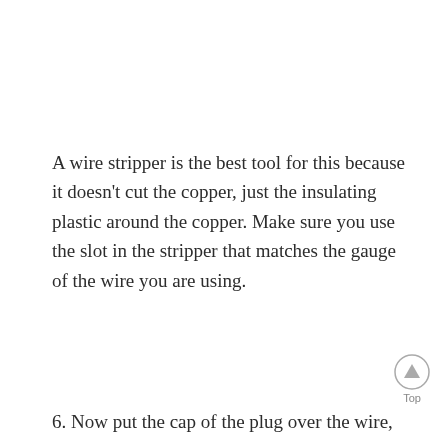A wire stripper is the best tool for this because it doesn't cut the copper, just the insulating plastic around the copper. Make sure you use the slot in the stripper that matches the gauge of the wire you are using.
6. Now put the cap of the plug over the wire,